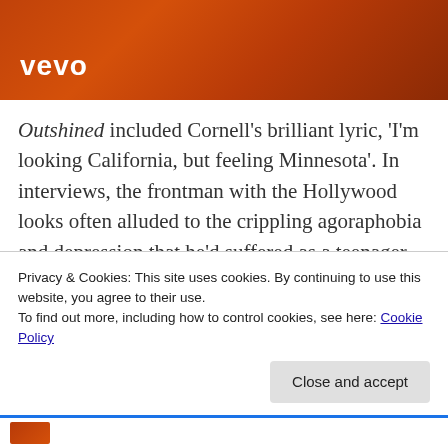[Figure (screenshot): Vevo video thumbnail with orange/red background and Vevo logo in white text]
Outshined included Cornell's brilliant lyric, 'I'm looking California, but feeling Minnesota'. In interviews, the frontman with the Hollywood looks often alluded to the crippling agoraphobia and depression that he'd suffered as a teenager. Though music had been his saviour, this line showed that despite his growing success, he never felt that his
Privacy & Cookies: This site uses cookies. By continuing to use this website, you agree to their use.
To find out more, including how to control cookies, see here: Cookie Policy
Close and accept